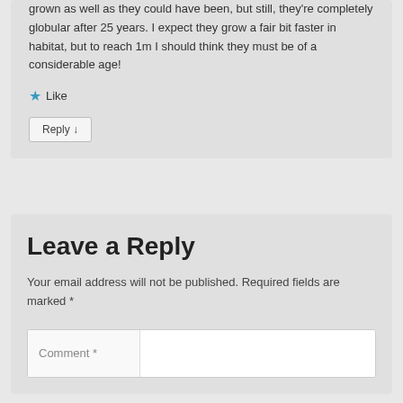grown as well as they could have been, but still, they're completely globular after 25 years. I expect they grow a fair bit faster in habitat, but to reach 1m I should think they must be of a considerable age!
★ Like
Reply ↓
Leave a Reply
Your email address will not be published. Required fields are marked *
Comment *